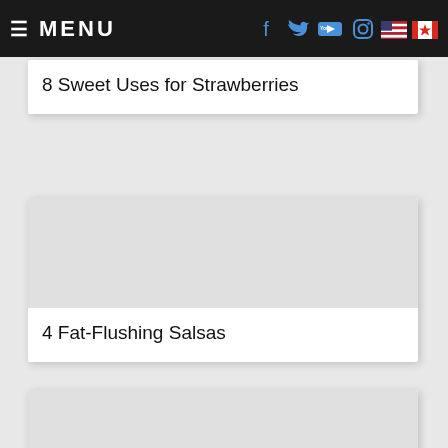MENU
8 Sweet Uses for Strawberries
4 Fat-Flushing Salsas
Weight Loss Recipe: 10 Super Slimming Salad Dressings
Oatmeal Raisin